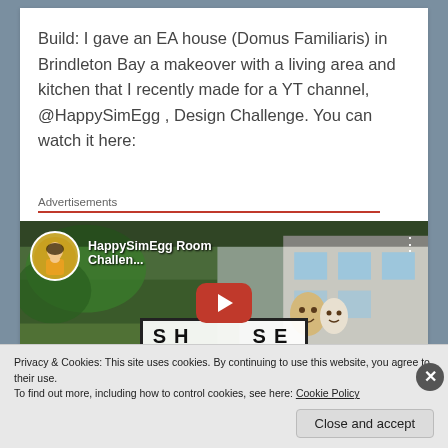Build: I gave an EA house (Domus Familiaris) in Brindleton Bay a makeover with a living area and kitchen that I recently made for a YT channel, @HappySimEgg , Design Challenge. You can watch it here:
Advertisements
[Figure (screenshot): YouTube video thumbnail for 'HappySimEgg Room Challen...' showing a Sims character with animated egg avatars and a red YouTube play button, with text 'SHOWCASE' visible]
Privacy & Cookies: This site uses cookies. By continuing to use this website, you agree to their use.
To find out more, including how to control cookies, see here: Cookie Policy
Close and accept